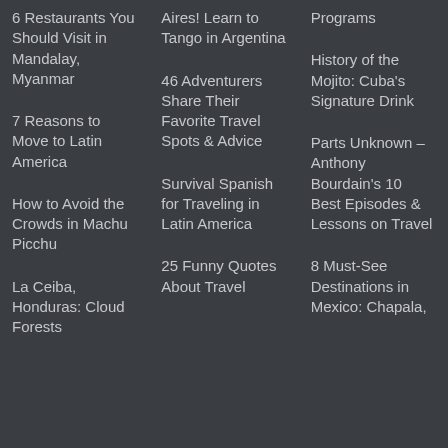6 Restaurants You Should Visit in Mandalay, Myanmar
7 Reasons to Move to Latin America
How to Avoid the Crowds in Machu Picchu
La Ceiba, Honduras: Cloud Forests
Aires! Learn to Tango in Argentina
46 Adventurers Share Their Favorite Travel Spots & Advice
Survival Spanish for Traveling in Latin America
25 Funny Quotes About Travel
Programs
History of the Mojito: Cuba's Signature Drink
Parts Unknown – Anthony Bourdain's 10 Best Episodes & Lessons on Travel
8 Must-See Destinations in Mexico: Chapala,